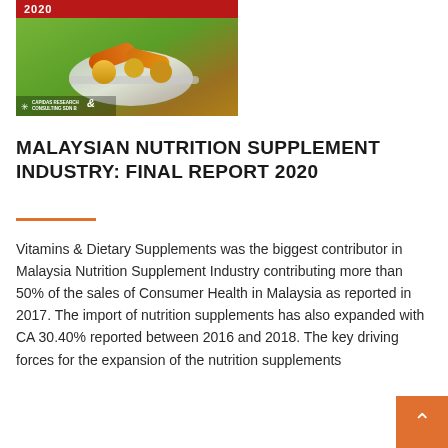[Figure (photo): Cover image of a nutrition supplements report showing capsules and pills on a spoon with green background, year 2020, Capidas Research & Consulting Sdn Bh logo at bottom left]
MALAYSIAN NUTRITION SUPPLEMENT INDUSTRY: FINAL REPORT 2020
Vitamins & Dietary Supplements was the biggest contributor in Malaysia Nutrition Supplement Industry contributing more than 50% of the sales of Consumer Health in Malaysia as reported in 2017. The import of nutrition supplements has also expanded with CA 30.40% reported between 2016 and 2018. The key driving forces for the expansion of the nutrition supplements